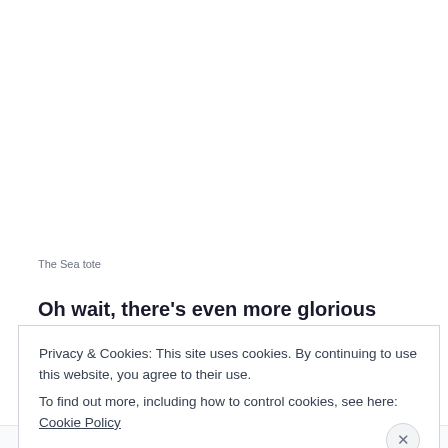The Sea tote
Oh wait, there's even more glorious news! The bag is
Privacy & Cookies: This site uses cookies. By continuing to use this website, you agree to their use.
To find out more, including how to control cookies, see here: Cookie Policy
Close and accept